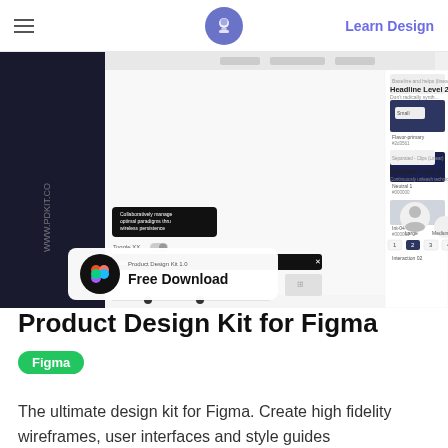Learn Design
[Figure (screenshot): Screenshot of a Figma product design kit showing UI components, wireframes, type scales, color swatches, and a 'Free Download' overlay with Figma logo. Text reads 'Product Design Kit 1.0 Free Download'.]
Product Design Kit for Figma
Figma
The ultimate design kit for Figma. Create high fidelity wireframes, user interfaces and style guides